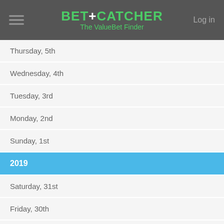BET+CATCHER The ValueBet Finder
Thursday, 5th
Wednesday, 4th
Tuesday, 3rd
Monday, 2nd
Sunday, 1st
2019
Saturday, 31st
Friday, 30th
Thursday, 29th
Wednesday, 28th
Tuesday, 27th
Monday, 26th
Sunday, 25th